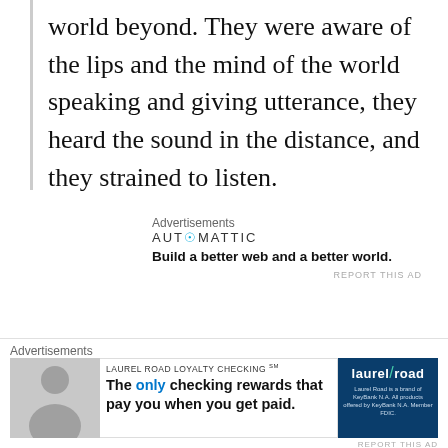world beyond. They were aware of the lips and the mind of the world speaking and giving utterance, they heard the sound in the distance, and they strained to listen.
[Figure (other): Automattic advertisement: 'Build a better web and a better world.']
Opening in this epic grand style, with female knowledge of a coming social change and a desire to meet it with their own resources, Lawrence
[Figure (other): Laurel Road Loyalty Checking advertisement: 'The only checking rewards that pay you when you get paid.']